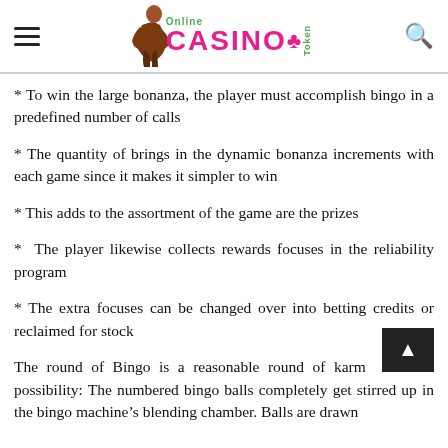Online Casino Token
* To win the large bonanza, the player must accomplish bingo in a predefined number of calls
* The quantity of brings in the dynamic bonanza increments with each game since it makes it simpler to win
* This adds to the assortment of the game are the prizes
* The player likewise collects rewards focuses in the reliability program
* The extra focuses can be changed over into betting credits or reclaimed for stock
The round of Bingo is a reasonable round of karma and possibility: The numbered bingo balls completely get stirred up in the bingo machine’s blending chamber. Balls are drawn